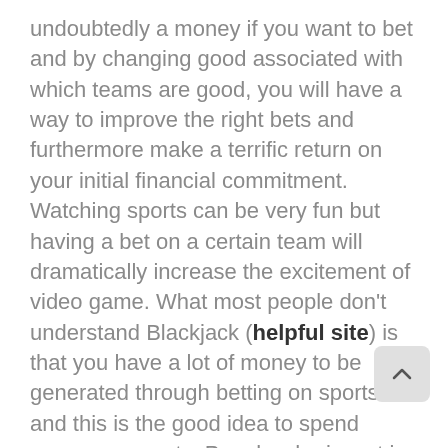undoubtedly a money if you want to bet and by changing good associated with which teams are good, you will have a way to improve the right bets and furthermore make a terrific return on your initial financial commitment. Watching sports can be very fun but having a bet on a certain team will dramatically increase the excitement of video game. What most people don't understand Blackjack (helpful site) is that you have a lot of money to be generated through betting on sports and this is the good idea to spend money on sports. People who invest in sports address it as another part in addition to investment profile. With consistent gains through a thorough sports betting system, gaining an average of 2% daily rn your bankroll isn't unheard to do with.
Most punters are Slack! They have religiously followed a doctrine of poor planning and connected with research. They refuse to analyze and spend hours